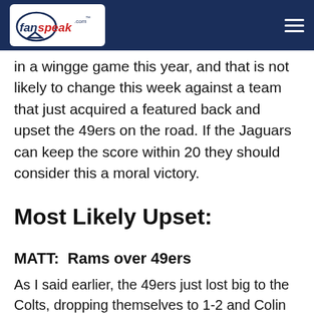fanspeak.com
in a wingge game this year, and that is not likely to change this week against a team that just acquired a featured back and upset the 49ers on the road. If the Jaguars can keep the score within 20 they should consider this a moral victory.
Most Likely Upset:
MATT:  Rams over 49ers
As I said earlier, the 49ers just lost big to the Colts, dropping themselves to 1-2 and Colin Kaepernick hasn't looked good in those two losses. They travel to St. Louis to face a team that beat and tied them last year. You know the Rams will be playing tough